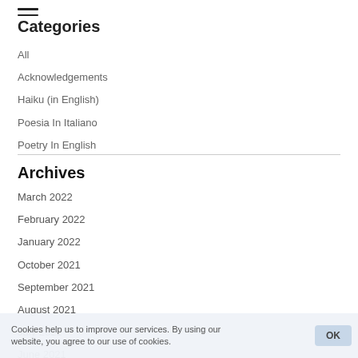Categories
All
Acknowledgements
Haiku (in English)
Poesia In Italiano
Poetry In English
Archives
March 2022
February 2022
January 2022
October 2021
September 2021
August 2021
July 2021
June 2021
May 2021
Cookies help us to improve our services. By using our website, you agree to our use of cookies.